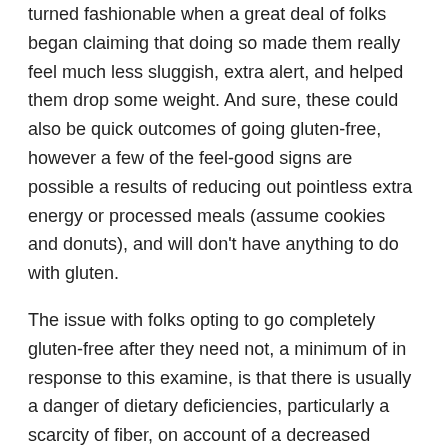turned fashionable when a great deal of folks began claiming that doing so made them really feel much less sluggish, extra alert, and helped them drop some weight. And sure, these could also be quick outcomes of going gluten-free, however a few of the feel-good signs are possible a results of reducing out pointless extra energy or processed meals (assume cookies and donuts), and will don't have anything to do with gluten.
The issue with folks opting to go completely gluten-free after they need not, a minimum of in response to this examine, is that there is usually a danger of dietary deficiencies, particularly a scarcity of fiber, on account of a decreased consumption of complete grains. The vital factor in any weight loss program is to ensure you have good steadiness—there's nothing improper with reducing down on gluten consumption, so long as you actively complement with different fiber-rich meals, like an apple, which accommodates a powerful 4.4 g of fiber.